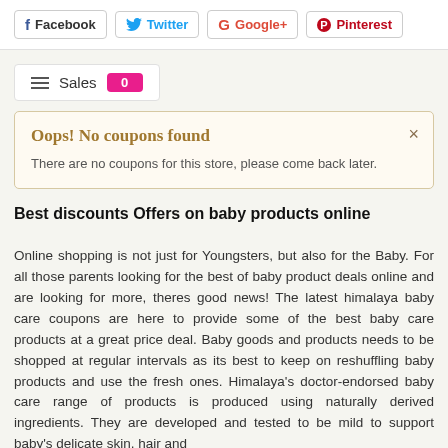[Figure (other): Social share buttons: Facebook, Twitter, Google+, Pinterest]
[Figure (other): Sales tab with hamburger menu icon, label 'Sales', and badge '0']
Oops! No coupons found
There are no coupons for this store, please come back later.
Best discounts Offers on baby products online
Online shopping is not just for Youngsters, but also for the Baby. For all those parents looking for the best of baby product deals online and are looking for more, theres good news! The latest himalaya baby care coupons are here to provide some of the best baby care products at a great price deal. Baby goods and products needs to be shopped at regular intervals as its best to keep on reshuffling baby products and use the fresh ones. Himalaya's doctor-endorsed baby care range of products is produced using naturally derived ingredients. They are developed and tested to be mild to support baby's delicate skin, hair and